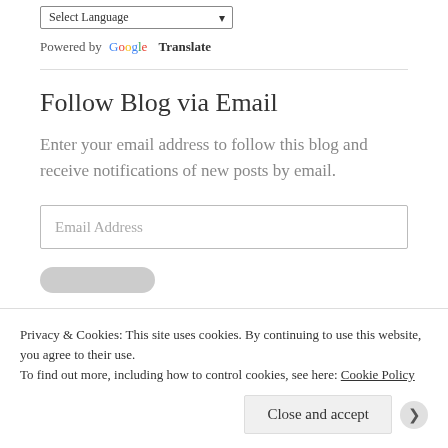Select Language
Powered by Google Translate
Follow Blog via Email
Enter your email address to follow this blog and receive notifications of new posts by email.
Email Address
Privacy & Cookies: This site uses cookies. By continuing to use this website, you agree to their use. To find out more, including how to control cookies, see here: Cookie Policy
Close and accept